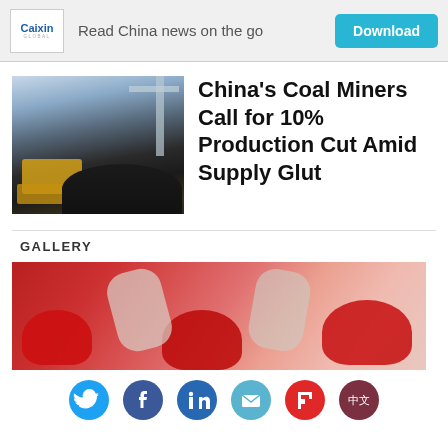Caixin Global — Read China news on the go — Download
[Figure (photo): Coal mining vehicle loading coal at a port or yard]
China's Coal Miners Call for 10% Production Cut Amid Supply Glut
GALLERY
[Figure (photo): Interior gallery image with red objects, possibly helmets or industrial equipment on a red floor]
Social sharing icons: Twitter, Facebook, LinkedIn, Email, Flipboard, Chinese